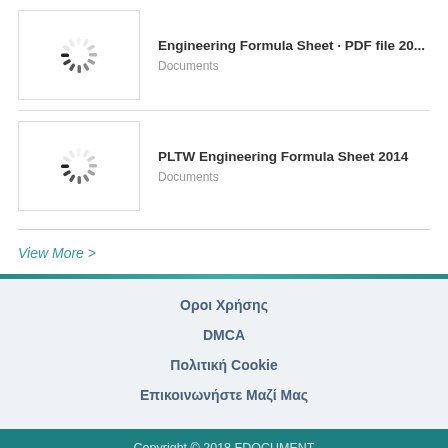[Figure (screenshot): Loading spinner thumbnail for Engineering Formula Sheet PDF document]
Engineering Formula Sheet · PDF file 20...
Documents
[Figure (screenshot): Loading spinner thumbnail for PLTW Engineering Formula Sheet 2014 document]
PLTW Engineering Formula Sheet 2014
Documents
View More >
Οροι Χρήσης
DMCA
Πολιτική Cookie
Επικοινωνήστε Μαζί Μας
Copyright © 2018 FDOCUMENT